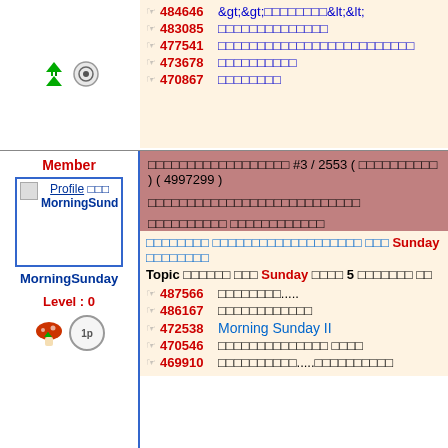484646 >>;xxxxxxxx<<;
483085 xxxxxxxxxxxxxx
477541 xxxxxxxxxxxxxxxxxxxxxxxxxxx
473678 xxxxxxxxxx
470867 xxxxxxxx
Member
Profile xxx MorningSund
MorningSunday
Level : 0
xxxxxxxxxxxxxxxxxx #3 / 2553 ( xxxxxxxxxx ) ( 4997299 )
xxxxxxxxxxxxxxxxxxxxxxxxxxx
xxxxxxxxxx xxxxxxxxxx
xxxxxxxx xxxxxxxxxxxxxxxxxxxx xxx Sunday xxxxxxxx Topic xxxxxx xxx Sunday xxxx 5 xxxxxxx xx
487566 xxxxxxxx.....
486167 xxxxxxxxxxxx
472538 Morning Sunday II
470546 xxxxxxxxxxxxxx xxxx
469910 xxxxxxxxxx.....xxxxxxxxxx